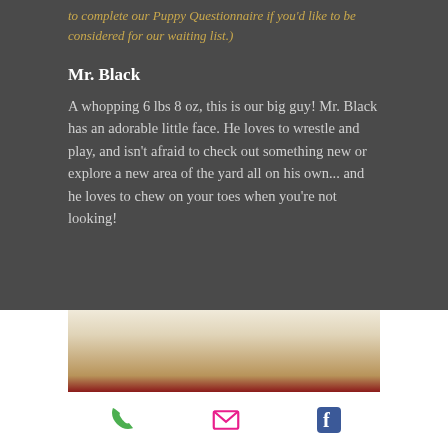to complete our Puppy Questionnaire if you'd like to be considered for our waiting list.)
Mr. Black
A whopping 6 lbs 8 oz, this is our big guy! Mr. Black has an adorable little face. He loves to wrestle and play, and isn't afraid to check out something new or explore a new area of the yard all on his own... and he loves to chew on your toes when you're not looking!
[Figure (photo): Close-up photo of a fluffy white puppy against a red/dark background]
Phone icon, Email icon, Facebook icon